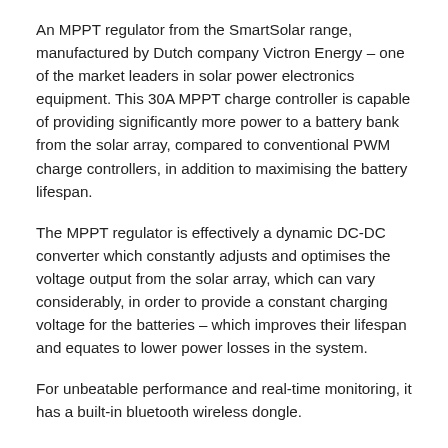An MPPT regulator from the SmartSolar range, manufactured by Dutch company Victron Energy – one of the market leaders in solar power electronics equipment. This 30A MPPT charge controller is capable of providing significantly more power to a battery bank from the solar array, compared to conventional PWM charge controllers, in addition to maximising the battery lifespan.
The MPPT regulator is effectively a dynamic DC-DC converter which constantly adjusts and optimises the voltage output from the solar array, which can vary considerably, in order to provide a constant charging voltage for the batteries – which improves their lifespan and equates to lower power losses in the system.
For unbeatable performance and real-time monitoring, it has a built-in bluetooth wireless dongle.